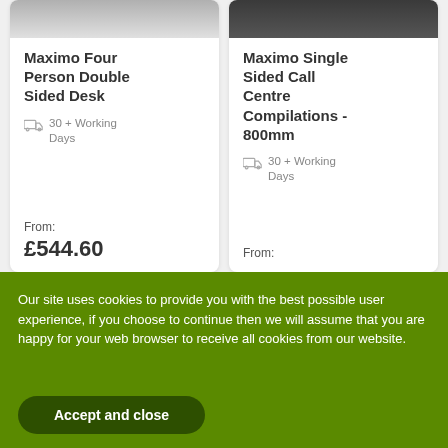Maximo Four Person Double Sided Desk
30 + Working Days
From:
£544.60
Maximo Single Sided Call Centre Compilations - 800mm
30 + Working Days
From:
Our site uses cookies to provide you with the best possible user experience, if you choose to continue then we will assume that you are happy for your web browser to receive all cookies from our website.
Accept and close